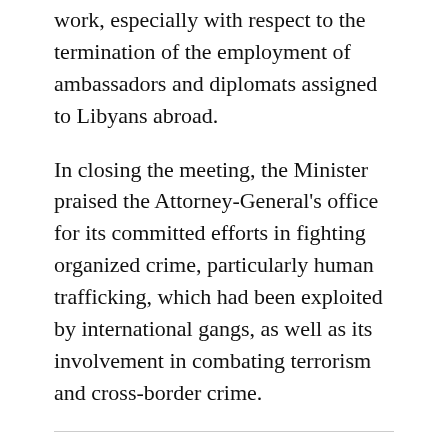work, especially with respect to the termination of the employment of ambassadors and diplomats assigned to Libyans abroad.
In closing the meeting, the Minister praised the Attorney-General's office for its committed efforts in fighting organized crime, particularly human trafficking, which had been exploited by international gangs, as well as its involvement in combating terrorism and cross-border crime.
[Figure (infographic): Social sharing icons: Facebook, Twitter, WhatsApp, LinkedIn, Email, Print]
Submit a Correction
Sign up for our Newsletter.